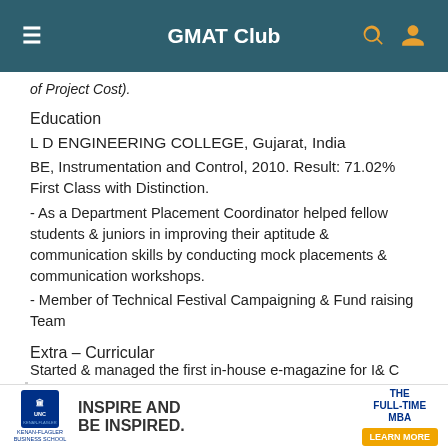GMAT Club
of Project Cost).
Education
L D ENGINEERING COLLEGE, Gujarat, India
BE, Instrumentation and Control, 2010. Result: 71.02% First Class with Distinction.
- As a Department Placement Coordinator helped fellow students & juniors in improving their aptitude & communication skills by conducting mock placements & communication workshops.
- Member of Technical Festival Campaigning & Fund raising Team
Extra – Curricular
Started & managed the first in-house e-magazine for I& C
[Figure (infographic): UNC Kenan-Flagler Business School advertisement banner: 'INSPIRE AND BE INSPIRED. THE FULL-TIME MBA' with LEARN MORE button]